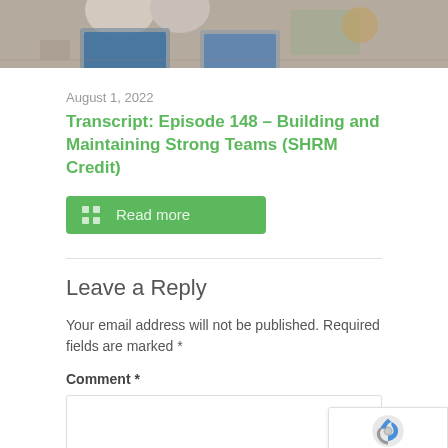[Figure (photo): Overhead view of people working at laptops on a wooden table]
August 1, 2022
Transcript: Episode 148 – Building and Maintaining Strong Teams (SHRM Credit)
Read more
Leave a Reply
Your email address will not be published. Required fields are marked *
Comment *
[Figure (logo): reCAPTCHA badge with Privacy - Terms text]